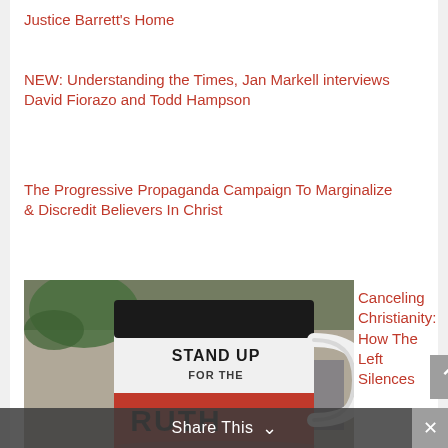Justice Barrett's Home
NEW: Understanding the Times, Jan Markell interviews David Fiorazo and Todd Hampson
The Progressive Propaganda Campaign To Marginalize & Discredit Believers In Christ
[Figure (photo): A white coffee mug with 'STAND UP FOR THE TRUTH' text printed on it, with a red band at the bottom, photographed against a blurred background with a plant and books.]
Canceling Christianity: How The Left Silences
Share This